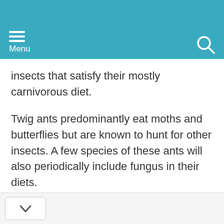Menu
insects that satisfy their mostly carnivorous diet.
Twig ants predominantly eat moths and butterflies but are known to hunt for other insects. A few species of these ants will also periodically include fungus in their diets.